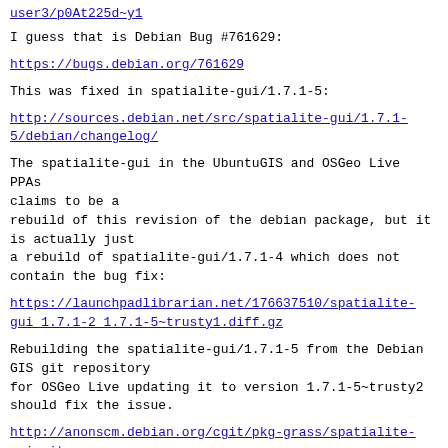user3/p0At225d~y1
I guess that is Debian Bug #761629:
https://bugs.debian.org/761629
This was fixed in spatialite-gui/1.7.1-5:
http://sources.debian.net/src/spatialite-gui/1.7.1-5/debian/changelog/
The spatialite-gui in the UbuntuGIS and OSGeo Live PPAs claims to be a
rebuild of this revision of the debian package, but it is actually just
a rebuild of spatialite-gui/1.7.1-4 which does not contain the bug fix:
https://launchpadlibrarian.net/176637510/spatialite-gui_1.7.1-2_1.7.1-5~trusty1.diff.gz
Rebuilding the spatialite-gui/1.7.1-5 from the Debian GIS git repository
for OSGeo Live updating it to version 1.7.1-5~trusty2 should fix the issue.
http://anonscm.debian.org/cgit/pkg-grass/spatialite-gui.git
http://pkg-grass.alioth.debian.org/policy/packaging.html#git